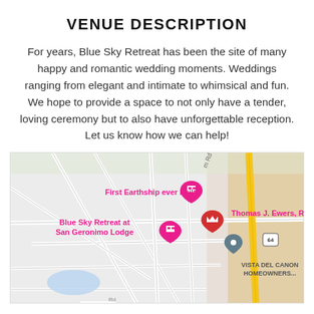VENUE DESCRIPTION
For years, Blue Sky Retreat has been the site of many happy and romantic wedding moments. Weddings ranging from elegant and intimate to whimsical and fun. We hope to provide a space to not only have a tender, loving ceremony but to also have unforgettable reception. Let us know how we can help!
[Figure (map): Google Maps screenshot showing location of Blue Sky Retreat at San Geronimo Lodge, First Earthship ever built, Thomas J. Ewers RPh, and Vista Del Canon Homeowners area, with roads and terrain visible.]